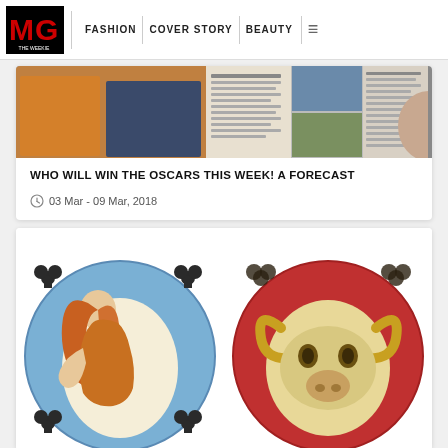MG THE WEEKIE | FASHION | COVER STORY | BEAUTY
[Figure (photo): Magazine spread showing celebrities and a listing/credits page]
WHO WILL WIN THE OSCARS THIS WEEK! A FORECAST
03 Mar - 09 Mar, 2018
[Figure (illustration): Two circular zodiac/tarot-style illustrations: left shows a female figure (Virgo/maiden) on blue background, right shows a ram/goat face (Aries) on red background]